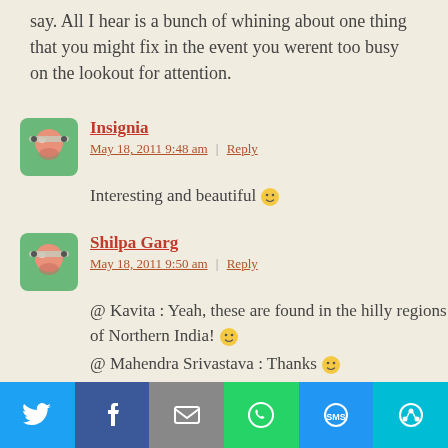say. All I hear is a bunch of whining about one thing that you might fix in the event you werent too busy on the lookout for attention.
Insignia
May 18, 2011 9:48 am | Reply
Interesting and beautiful 🙂
Shilpa Garg
May 18, 2011 9:50 am | Reply
@ Kavita : Yeah, these are found in the hilly regions of Northern India! 🙂
@ Mahendra Srivastava : Thanks 🙂